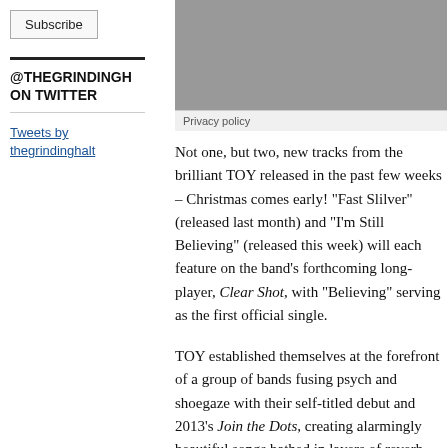Subscribe
@THEGRINDINGHA ON TWITTER
Tweets by thegrindinghalt
[Figure (other): Grey rectangle placeholder image]
Privacy policy
Not one, but two, new tracks from the brilliant TOY released in the past few weeks – Christmas comes early!  “Fast Slilver” (released last month) and “I’m Still Believing” (released this week) will each feature on the band’s forthcoming long-player, Clear Shot, with “Believing” serving as the first official single.
TOY established themselves at the forefront of a group of bands fusing psych and shoegaze with their self-titled debut and 2013’s Join the Dots, creating alarmingly beautiful songs bathed in layers of reverb and propelled by a crisp rhythmic churn.  These new tracks suggest a bit of a blue-pencil job by the band